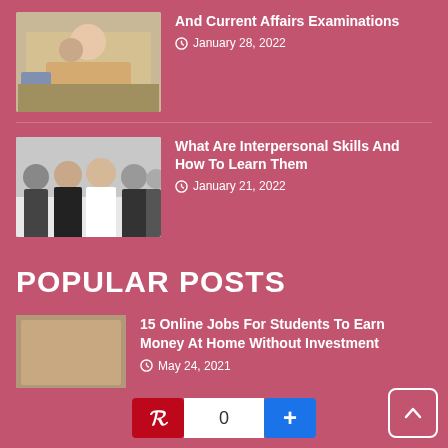[Figure (photo): Woman studying on a laptop at a desk]
And Current Affairs Examinations
January 28, 2022
[Figure (photo): Group of professionals in business attire standing together]
What Are Interpersonal Skills And How To Learn Them
January 21, 2022
POPULAR POSTS
[Figure (photo): Placeholder image for popular post]
15 Online Jobs For Students To Earn Money At Home Without Investment
May 24, 2021